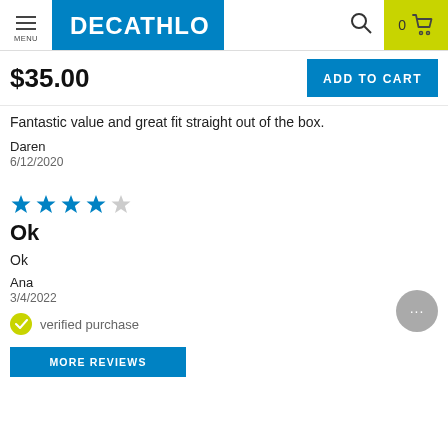MENU | DECATHLON | 0 (cart)
$35.00
ADD TO CART
Fantastic value and great fit straight out of the box.
Daren
6/12/2020
[Figure (other): 4 out of 5 stars rating]
Ok
Ok
Ana
3/4/2022
verified purchase
MORE REVIEWS